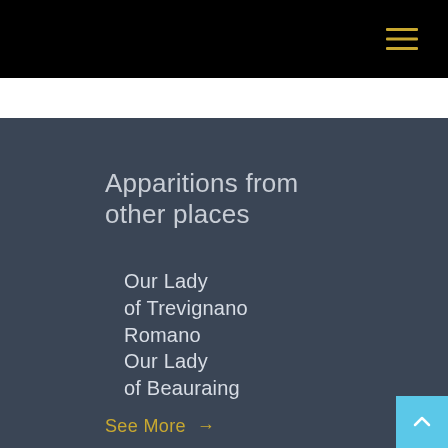Apparitions from other places
Our Lady of Trevignano Romano
Our Lady of Beauraing
See More →